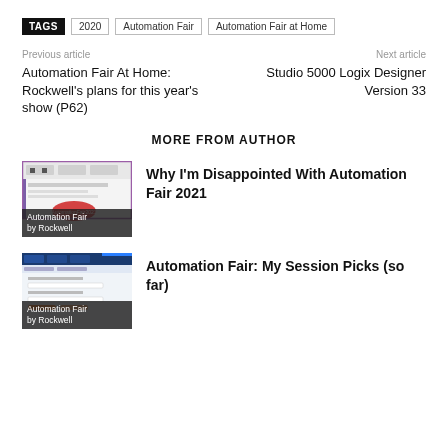TAGS  2020  Automation Fair  Automation Fair at Home
Previous article
Automation Fair At Home: Rockwell's plans for this year's show (P62)
Next article
Studio 5000 Logix Designer Version 33
MORE FROM AUTHOR
[Figure (screenshot): Thumbnail of Automation Fair website screenshot with text overlay 'Automation Fair by Rockwell']
Why I'm Disappointed With Automation Fair 2021
[Figure (screenshot): Thumbnail of Automation Fair session registration form with text overlay 'Automation Fair by Rockwell']
Automation Fair: My Session Picks (so far)